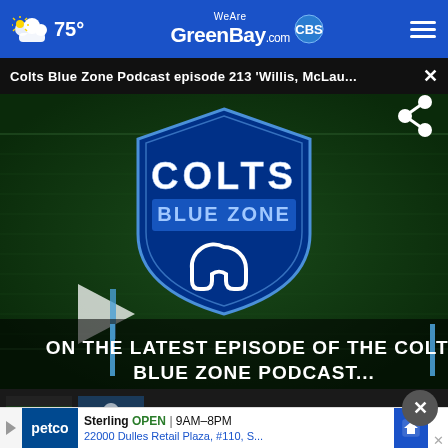WeAreGreenBay.com — 75°
Colts Blue Zone Podcast episode 213 'Willis, McLau... ×
[Figure (screenshot): Video thumbnail for Colts Blue Zone Podcast showing the Colts Blue Zone logo on a football field background with text 'ON THE LATEST EPISODE OF THE COLTS BLUE ZONE PODCAST...' and a play button overlay and share icon]
[Figure (photo): Small thumbnail image of what appears to be people on a field]
[Figure (photo): Small thumbnail image of a person in athletic setting]
Sterling  OPEN | 9AM–8PM
22000 Dulles Retail Plaza, #110, S...